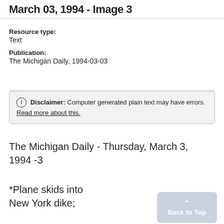March 03, 1994 - Image 3
Resource type:
Text
Publication:
The Michigan Daily, 1994-03-03
ⓘ Disclaimer: Computer generated plain text may have errors. Read more about this.
The Michigan Daily - Thursday, March 3, 1994 -3
*Plane skids into
New York dike;